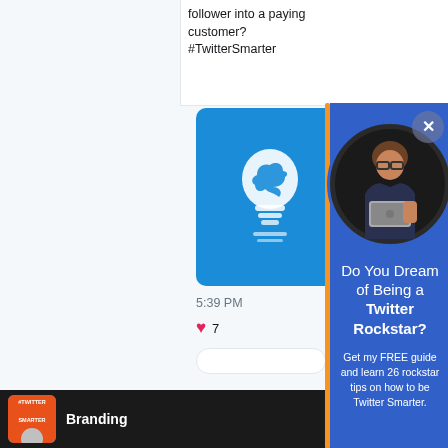follower into a paying customer? #TwitterSmarter
[Figure (screenshot): Twitter app interface showing a tweet card with blue Twitter lightbulb icon, timestamp 5:39 PM, heart/like icon with count 7, reply input box]
[Figure (photo): Popup overlay with blue background showing a woman with glasses holding a MacBook laptop, circular profile photo]
Do You Dream of Being a Twitter Rockstar?
Get my FREE guide and learn 26 rockstar tips on how to be Twitter Smarter.
[Figure (screenshot): Bottom bar showing #TwitterSmarter podcast thumbnail and Branding label]
5:39 PM
7